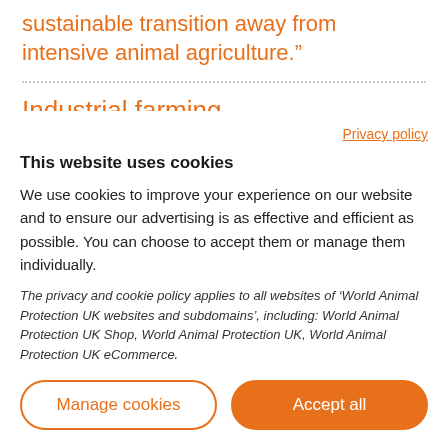sustainable transition away from intensive animal agriculture.”
Industrial farming
More than 70 billion animals are farmed annually and 50
Privacy policy
This website uses cookies
We use cookies to improve your experience on our website and to ensure our advertising is as effective and efficient as possible. You can choose to accept them or manage them individually.
The privacy and cookie policy applies to all websites of ‘World Animal Protection UK websites and subdomains’, including: World Animal Protection UK Shop, World Animal Protection UK, World Animal Protection UK eCommerce.
Manage cookies
Accept all